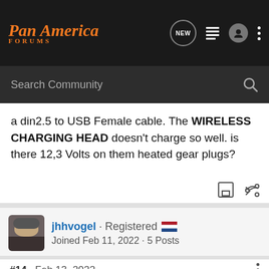Pan America FORUMS
Search Community
a din2.5 to USB Female cable. The WIRELESS CHARGING HEAD doesn't charge so well. is there 12,3 Volts on them heated gear plugs?
jhhvogel · Registered
Joined Feb 11, 2022 · 5 Posts
#14 · Feb 13, 2022
jhhvogel said:
Hey gu...
I mou...